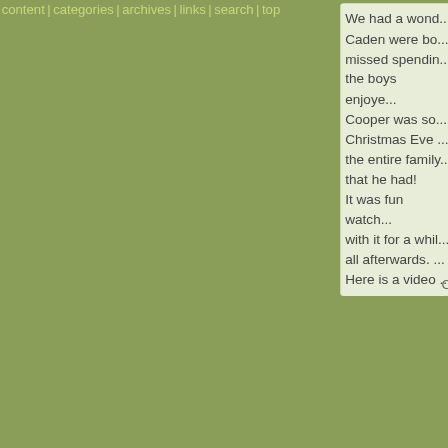content | categories | archives | links | search | top
We had a wond... Caden were bo... missed spendin... the boys enjoye...
Cooper was so... Christmas Eve ... the entire family... that he had!
It was fun watch... with it for a whil... all afterwards. ...
Here is a video ...